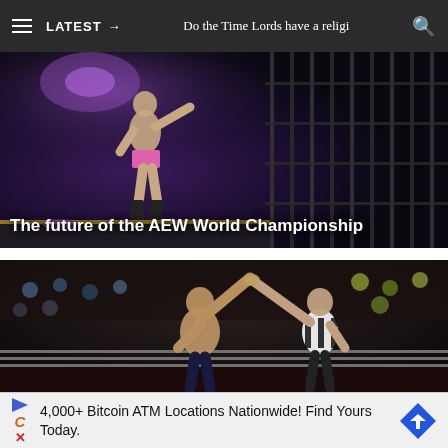LATEST → Do the Time Lords have a religi
[Figure (photo): A wrestler in pink trunks posing in a wrestling arena with steel cage structure in background, purple stage lighting]
The future of the AEW World Championship
[Figure (photo): A male wrestler with arm raised by referee in black and white stripes in front of a crowd in an indoor arena]
4,000+ Bitcoin ATM Locations Nationwide! Find Yours Today.